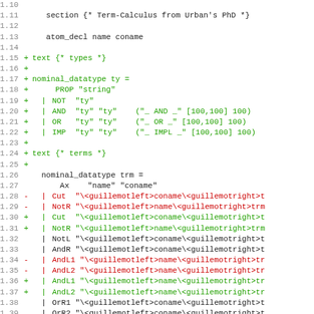[Figure (screenshot): Code diff showing Isabelle/HOL nominal datatype definitions for Term-Calculus from Urban's PhD, with green additions and red deletions, lines 1.10 through 1.41]